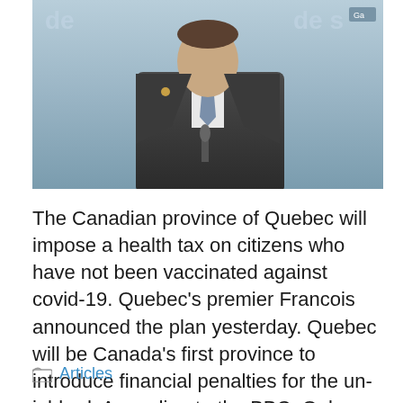[Figure (photo): A man in a dark suit at a press conference podium. Watermark text 'de' appears upper left and 'de s' upper right with a small badge label.]
The Canadian province of Quebec will impose a health tax on citizens who have not been vaccinated against covid-19. Quebec's premier Francois announced the plan yesterday. Quebec will be Canada's first province to introduce financial penalties for the un-jabbed. According to the BBC: Only about 12.8% of Quebec residents are not vaccinated, but they make … Read more
Articles